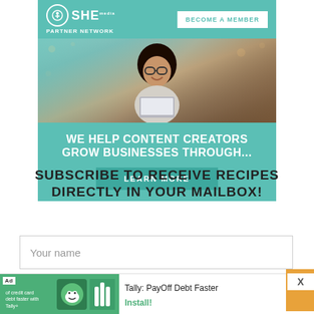[Figure (illustration): SHE Media Partner Network advertisement banner with teal background, photo of smiling woman with glasses using laptop, and text 'WE HELP CONTENT CREATORS GROW BUSINESSES THROUGH...' with a 'LEARN MORE' button and 'BECOME A MEMBER' option]
SUBSCRIBE TO RECEIVE RECIPES DIRECTLY IN YOUR MAILBOX!
[Figure (screenshot): Input field with placeholder text 'Your name', partially obscured ad bar at bottom showing 'Tally: PayOff Debt Faster' with Install button, and an orange block with X close button]